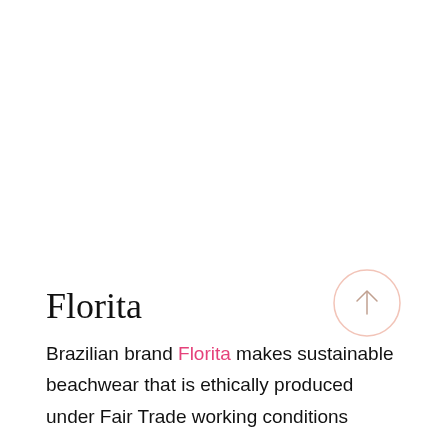[Figure (illustration): Scroll-to-top circular button with upward arrow, light salmon/pink border on white background, positioned bottom right]
Florita
Brazilian brand Florita makes sustainable beachwear that is ethically produced under Fair Trade working conditions